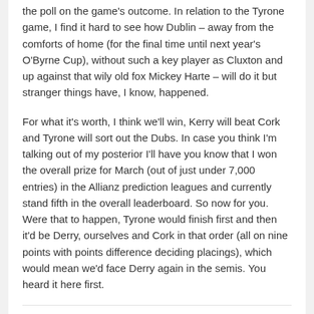the poll on the game's outcome. In relation to the Tyrone game, I find it hard to see how Dublin – away from the comforts of home (for the final time until next year's O'Byrne Cup), without such a key player as Cluxton and up against that wily old fox Mickey Harte – will do it but stranger things have, I know, happened.
For what it's worth, I think we'll win, Kerry will beat Cork and Tyrone will sort out the Dubs. In case you think I'm talking out of my posterior I'll have you know that I won the overall prize for March (out of just under 7,000 entries) in the Allianz prediction leagues and currently stand fifth in the overall leaderboard. So now for you. Were that to happen, Tyrone would finish first and then it'd be Derry, ourselves and Cork in that order (all on nine points with points difference deciding placings), which would mean we'd face Derry again in the semis. You heard it here first.
Blogging, Derry, NFL 2014, Refereeing  permalink